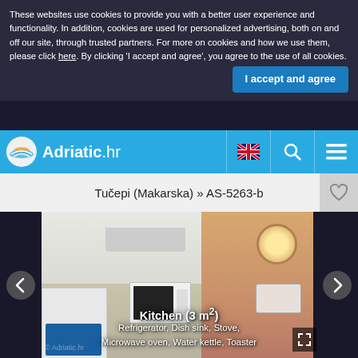These websites use cookies to provide you with a better user experience and functionality. In addition, cookies are used for personalized advertising, both on and off our site, through trusted partners. For more on cookies and how we use them, please click here. By clicking 'I accept and agree', you agree to the use of all cookies.
I accept and agree
[Figure (screenshot): Adriatic.hr navigation bar with logo, UK flag, search icon, and menu icon]
Tučepi (Makarska) » AS-5263-b
[Figure (photo): Photo of a kitchen (3 m²) showing refrigerator, dish sink, stove, microwave oven, water kettle, toaster; partially visible bathroom with pink tiles and mirror on the right side]
Kitchen (3 m²)
Refrigerator, Dish sink, Stove, Microwave oven, Water kettle, Toaster